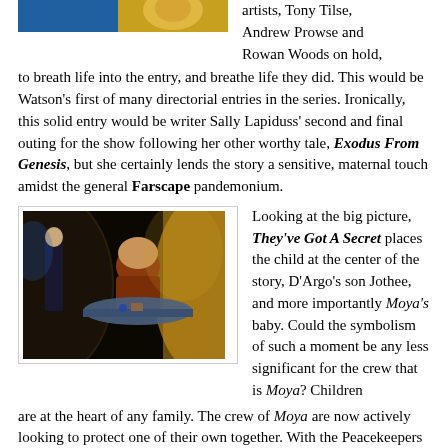[Figure (photo): Top partial image of a person, partially cropped at top of page]
artists, Tony Tilse, Andrew Prowse and Rowan Woods on hold, to breath life into the entry, and breathe life they did. This would be Watson's first of many directorial entries in the series. Ironically, this solid entry would be writer Sally Lapiduss' second and final outing for the show following her other worthy tale, Exodus From Genesis, but she certainly lends the story a sensitive, maternal touch amidst the general Farscape pandemonium.
[Figure (photo): Science fiction scene with two figures in a stylized spacecraft interior, warm golden lighting, one figure leaning over a table]
Looking at the big picture, They've Got A Secret places the child at the center of the story, D'Argo's son Jothee, and more importantly Moya's baby. Could the symbolism of such a moment be any less significant for the crew that is Moya? Children are at the heart of any family. The crew of Moya are now actively looking to protect one of their own together. With the Peacekeepers on the prowl, they've